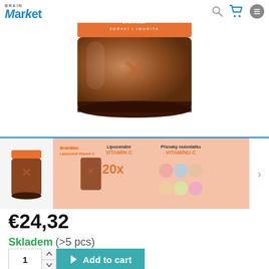[Figure (logo): BrainMarket logo with blue stylized text]
[Figure (photo): Brown amber jar product image - BrainMax supplement, ZDRAVÍ | IMUNITA label visible]
[Figure (infographic): Product thumbnail strip showing: product bottle thumbnail, BrainMax Liposomal Vitamin C info panel with 20x icons, Lipozomální VITAMÍN C info, Příznaky nedostatku VITAMÍNU C symptoms panel]
€24,32
Skladem (>5 pcs)
1  Add to cart